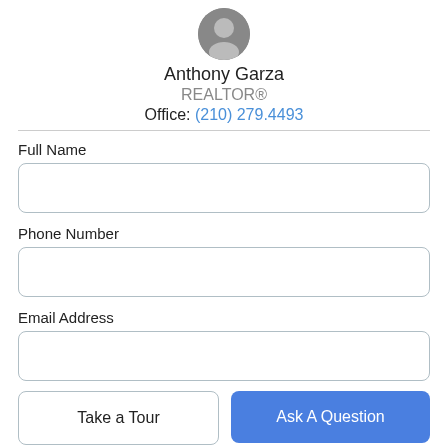[Figure (photo): Circular profile photo of Anthony Garza]
Anthony Garza
REALTOR®
Office: (210) 279.4493
Full Name
Phone Number
Email Address
Take a Tour
Ask A Question
I am interested in 63 Mandarin St, Boerne, TX, 78006